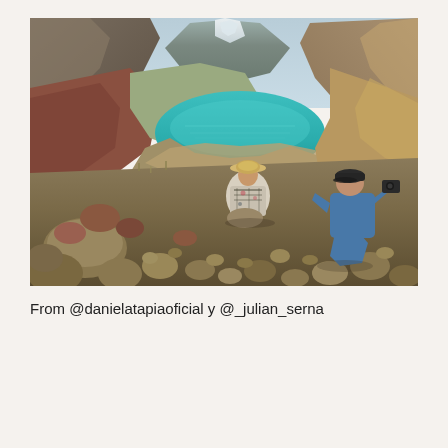[Figure (photo): Two people sitting on rocky terrain overlooking a vivid turquoise mountain lake surrounded by rugged mountain peaks. One person wears a patterned poncho and straw hat; the other wears a blue jacket and dark cap, photographing the scenery.]
From @danielatapiaoficial y @_julian_serna